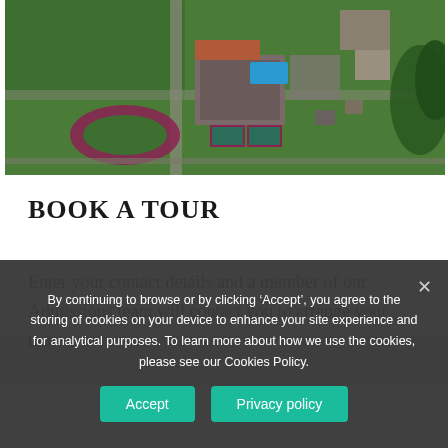[Figure (photo): Aerial drone photograph of a school campus showing buildings, a blue swimming pool, red athletics track, tennis courts, parking areas, and surrounding green fields and woodland.]
BOOK A TOUR
Enter your contact details and a member of our Admissions team will contact you to arrange your tour
By continuing to browse or by clicking ‘Accept’, you agree to the storing of cookies on your device to enhance your site experience and for analytical purposes. To learn more about how we use the cookies, please see our Cookies Policy.